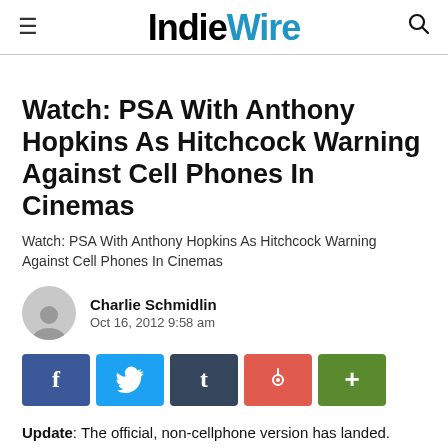IndieWire
Watch: PSA With Anthony Hopkins As Hitchcock Warning Against Cell Phones In Cinemas
Watch: PSA With Anthony Hopkins As Hitchcock Warning Against Cell Phones In Cinemas
Charlie Schmidlin
Oct 16, 2012 9:58 am
[Figure (other): Social share buttons: Facebook (f), Twitter (bird), Tumblr (t), Pinterest (pin), More (+)]
Update: The official, non-cellphone version has landed. Watch below.